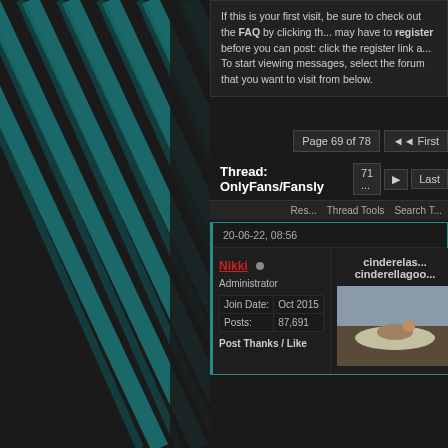If this is your first visit, be sure to check out the FAQ by clicking th... may have to register before you can post: click the register link a... To start viewing messages, select the forum that you want to visit from below.
Page 69 of 78  First  71 ...  Last
Thread: OnlyFans/Fansly
Thread Tools  Search T...  Res...
20-06-22, 08:56
Nikki  Administrator  Join Date: Oct 2015  Posts: 87,691  Post Thanks / Like
cinderelas... cinderellagoo...
[Figure (photo): Photo of a person in a hammock outdoors]